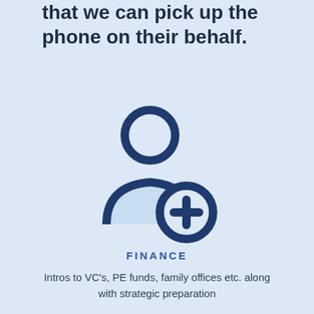We work with a small number of companies so that we can pick up the phone on their behalf.
[Figure (illustration): Person/user icon with a blue circle plus sign badge, representing finance or adding a contact, in dark navy and light blue colors]
FINANCE
Intros to VC's, PE funds, family offices etc. along with strategic preparation